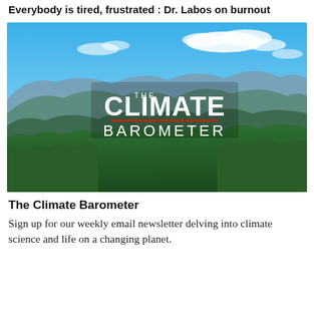Everybody is tired, frustrated : Dr. Labos on burnout
[Figure (photo): Mountain landscape with green forested hills and blue sky with clouds. Overlaid text reads 'THE CLIMATE BAROMETER' with a red underline between the two words.]
The Climate Barometer
Sign up for our weekly email newsletter delving into climate science and life on a changing planet.